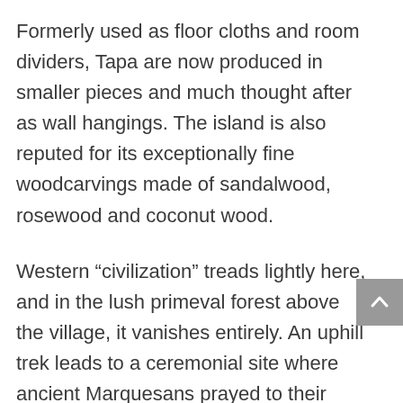Formerly used as floor cloths and room dividers, Tapa are now produced in smaller pieces and much thought after as wall hangings. The island is also reputed for its exceptionally fine woodcarvings made of sandalwood, rosewood and coconut wood.
Western “civilization” treads lightly here, and in the lush primeval forest above the village, it vanishes entirely. An uphill trek leads to a ceremonial site where ancient Marquesans prayed to their gods for abundant rain and crops. The reward for making it to the crest of the ridge is